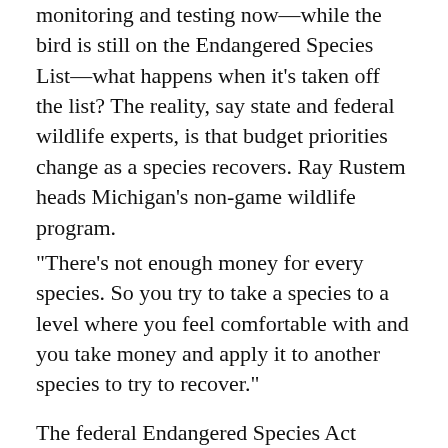monitoring and testing now—while the bird is still on the Endangered Species List—what happens when it’s taken off the list? The reality, say state and federal wildlife experts, is that budget priorities change as a species recovers. Ray Rustem heads Michigan’s non-game wildlife program.
“There’s not enough money for every species. So you try to take a species to a level where you feel comfortable with and you take money and apply it to another species to try to recover.”
The federal Endangered Species Act requires